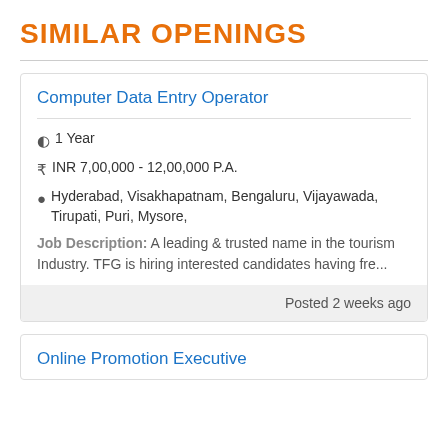SIMILAR OPENINGS
Computer Data Entry Operator
1 Year
INR 7,00,000 - 12,00,000 P.A.
Hyderabad, Visakhapatnam, Bengaluru, Vijayawada, Tirupati, Puri, Mysore,
Job Description: A leading & trusted name in the tourism Industry. TFG is hiring interested candidates having fre...
Posted 2 weeks ago
Online Promotion Executive